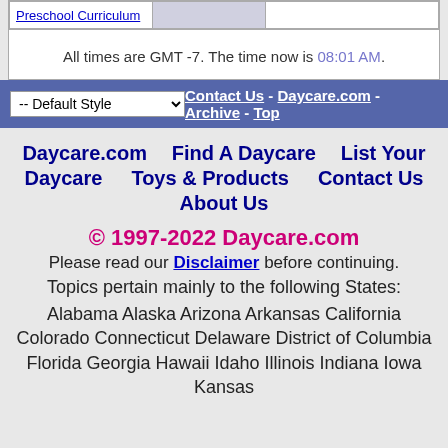|  |  |  |
| --- | --- | --- |
| Preschool Curriculum |  |  |
All times are GMT -7. The time now is 08:01 AM.
-- Default Style   Contact Us - Daycare.com - Archive - Top
Daycare.com   Find A Daycare   List Your Daycare   Toys & Products   Contact Us   About Us
© 1997-2022 Daycare.com
Please read our Disclaimer before continuing.
Topics pertain mainly to the following States:
Alabama Alaska Arizona Arkansas California Colorado Connecticut Delaware District of Columbia Florida Georgia Hawaii Idaho Illinois Indiana Iowa Kansas